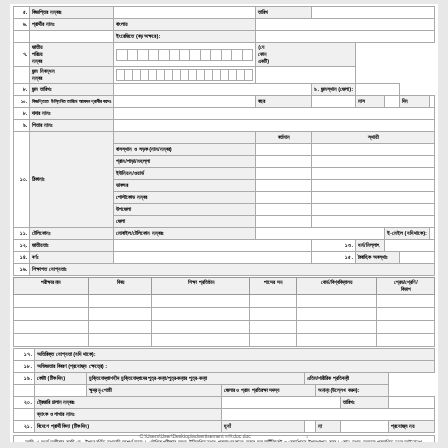| ৫. | বিজ্ঞপ্তির নম্বরঃ |  | তারিখ |
| ৬. | প্রার্থীর নামঃ | বাংলায় |  |
|  |  | ইংরেজিতে (বড় অক্ষরে): |  |
| ৭. | জাতীয় পরিচয় নম্বর / জন্ম নিবন্ধন নম্বর |  | (যে কোন একটি) |
| ৮. | জন্ম তারিখঃ |  | ৯. জন্মস্থান (জেলা): |
| ১০. | বিজ্ঞপ্তিতে উল্লিখিত তারিখে আবেদন প্রার্থীর বয়সঃ | বছর | মাস | দিন |
| ৮. | দাদার নামঃ |
| ৯. | পিতার নামঃ |
| ১০. | ঠিকানাঃ | বর্তমান | স্থায়ী |
| পরীক্ষার নাম | বিষয় | শিক্ষা প্রতিষ্ঠান | পাসের সন | বোর্ড/বিশ্ববিদ্যালয় | গ্রেড/শ্রেণি/বিভাগ |
| --- | --- | --- | --- | --- | --- |
আমি এ মর্মে অঙ্গীকার করছি যে, উপরে বর্ণিত তথ্যাদি সম্পূর্ণ সত্য। মৌখিক পরীক্ষার সময় উল্লিখিত তথ্য প্রমাণের জন্য সকল মূল সার্টিফিকেট ও রেকর্ডপত্র উপস্থাপন করব। কোন তথ্য অসত্য প্রমাণিত হলে আইনানুগ ব্যবস্থা গ্রহণ করতে বাধ্য থাকব।
C:\Users\User\Desktop\advertisement ডামি.doc.doc  ১